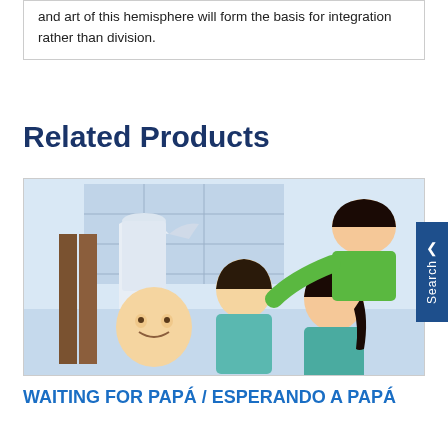and art of this hemisphere will form the basis for integration rather than division.
Related Products
[Figure (illustration): Children's book illustration showing children helping a boy put on a shirt, with a woman in green shirt watching. Background shows shelves with items. Characters appear to be of Latin American descent.]
WAITING FOR PAPÁ / ESPERANDO A PAPÁ